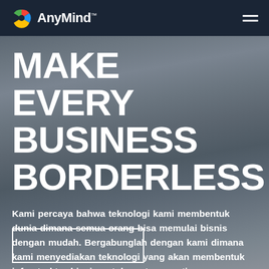AnyMind™
MAKE EVERY BUSINESS BORDERLESS
Kami percaya bahwa teknologi kami membentuk dunia dimana semua orang bisa memulai bisnis dengan mudah. Bergabunglah dengan kami dimana kami menyediakan teknologi yang akan membentuk infrastruktur bisnis untuk next-generation commerce.